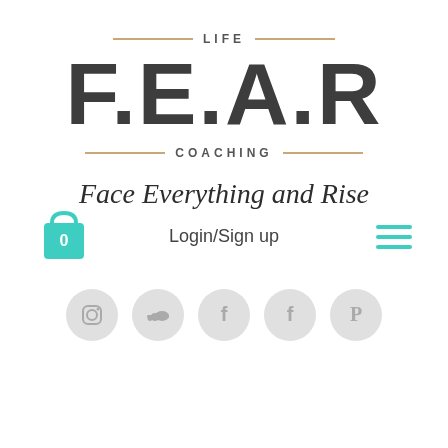LIFE
F.E.A.R
COACHING
Face Everything and Rise
Login/Sign up
[Figure (logo): Shopping bag icon with 0, hamburger menu icon, and social media icons (Instagram, SoundCloud, Facebook, Facebook, Pinterest)]